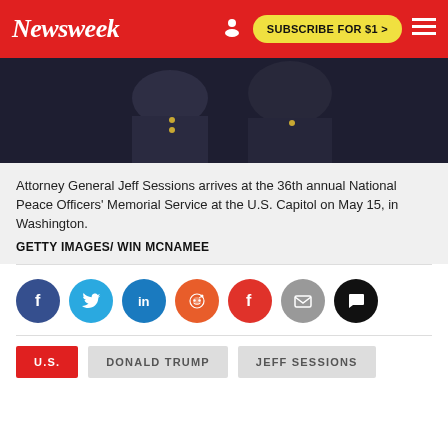Newsweek | SUBSCRIBE FOR $1 >
[Figure (photo): Attorney General Jeff Sessions in uniform, arriving at event. Dark background with figures in navy uniforms.]
Attorney General Jeff Sessions arrives at the 36th annual National Peace Officers' Memorial Service at the U.S. Capitol on May 15, in Washington.
GETTY IMAGES/ WIN MCNAMEE
[Figure (infographic): Social share buttons row: Facebook, Twitter, LinkedIn, Reddit, Flipboard, Email, Comments]
U.S. | DONALD TRUMP | JEFF SESSIONS